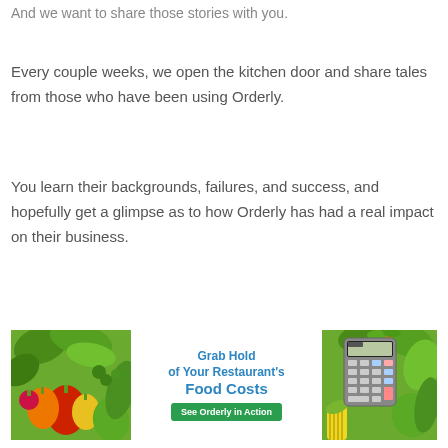And we want to share those stories with you.
Every couple weeks, we open the kitchen door and share tales from those who have been using Orderly.
You learn their backgrounds, failures, and success, and hopefully get a glimpse as to how Orderly has had a real impact on their business.
[Figure (infographic): Banner advertisement for Orderly showing vegetables on left and right sides with a calculator, center text reads 'Grab Hold of Your Restaurant's Food Costs' with a green 'See Orderly in Action' button.]